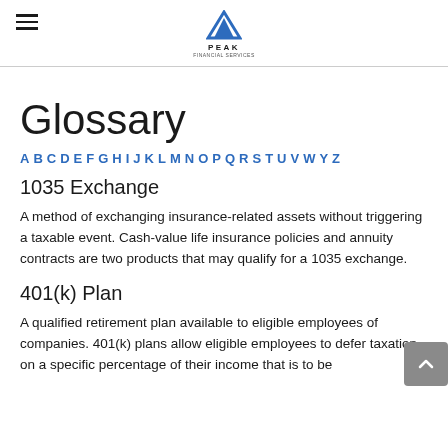PEAK
Glossary
A B C D E F G H I J K L M N O P Q R S T U V W Y Z
1035 Exchange
A method of exchanging insurance-related assets without triggering a taxable event. Cash-value life insurance policies and annuity contracts are two products that may qualify for a 1035 exchange.
401(k) Plan
A qualified retirement plan available to eligible employees of companies. 401(k) plans allow eligible employees to defer taxation on a specific percentage of their income that is to be